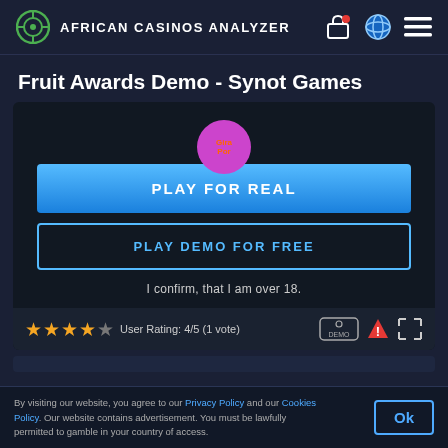AFRICAN CASINOS ANALYZER
Fruit Awards Demo - Synot Games
[Figure (screenshot): Game demo interface with a pink circle button labeled 'Gira Por', a blue 'PLAY FOR REAL' button, a dark outlined 'PLAY DEMO FOR FREE' button, and text 'I confirm, that I am over 18.']
User Rating: 4/5 (1 vote)
By visiting our website, you agree to our Privacy Policy and our Cookies Policy. Our website contains advertisement. You must be lawfully permitted to gamble in your country of access.